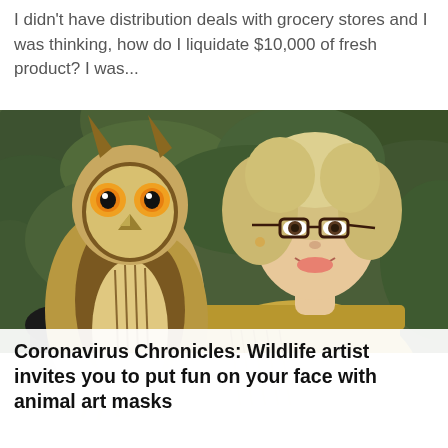I didn't have distribution deals with grocery stores and I was thinking, how do I liquidate $10,000 of fresh product? I was...
[Figure (photo): A smiling blonde woman wearing glasses and a gold fringe jacket holds a large owl (Eurasian eagle-owl) perched on her gloved hand, with green foliage in the background.]
Coronavirus Chronicles: Wildlife artist invites you to put fun on your face with animal art masks